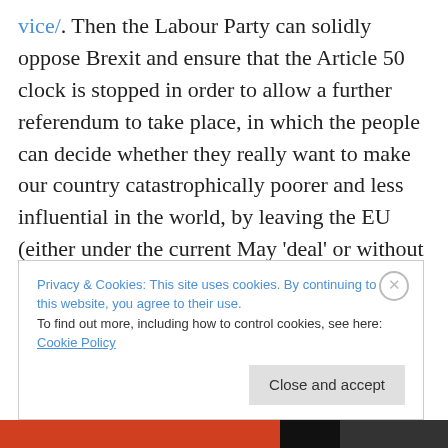vice/. Then the Labour Party can solidly oppose Brexit and ensure that the Article 50 clock is stopped in order to allow a further referendum to take place, in which the people can decide whether they really want to make our country catastrophically poorer and less influential in the world, by leaving the EU (either under the current May 'deal' or without a deal), or whether, now that they can see what Brexit actually involves, they would prefer to remain in the EU.  Then I can hope to greet my friend in Hamburg and be recognised again as his true friend.
Privacy & Cookies: This site uses cookies. By continuing to use this website, you agree to their use. To find out more, including how to control cookies, see here: Cookie Policy